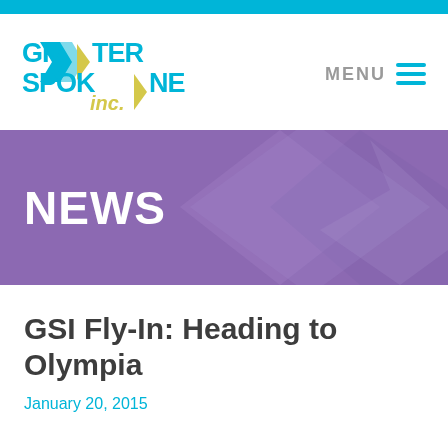[Figure (logo): Greater Spokane Inc. logo with cyan and yellow arrow chevron design]
MENU
[Figure (infographic): Purple news banner with diamond geometric shapes and NEWS text]
GSI Fly-In: Heading to Olympia
January 20, 2015